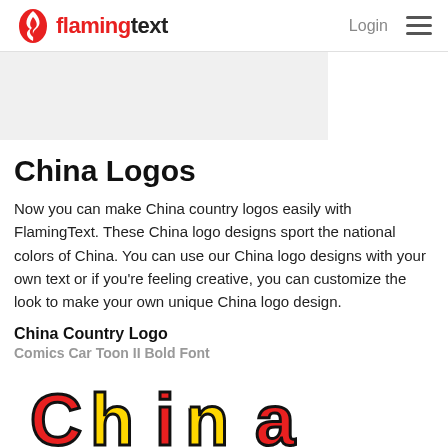flamingtext — Login ☰
[Figure (other): Gray ad banner placeholder rectangle]
China Logos
Now you can make China country logos easily with FlamingText. These China logo designs sport the national colors of China. You can use our China logo designs with your own text or if you're feeling creative, you can customize the look to make your own unique China logo design.
China Country Logo
Comics Car Toon II Bold Font
[Figure (logo): China logo in red, yellow cartoon-style lettering, partially visible at the bottom of the page]